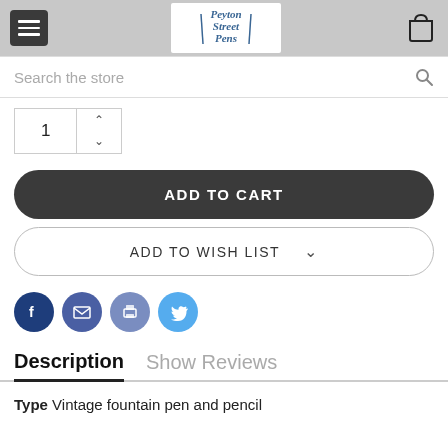[Figure (screenshot): Peyton Street Pens store header with hamburger menu, logo, and cart icon]
Search the store
1
ADD TO CART
ADD TO WISH LIST
[Figure (other): Social share icons: Facebook, Email, Print, Twitter]
Description
Show Reviews
Type Vintage fountain pen and pencil